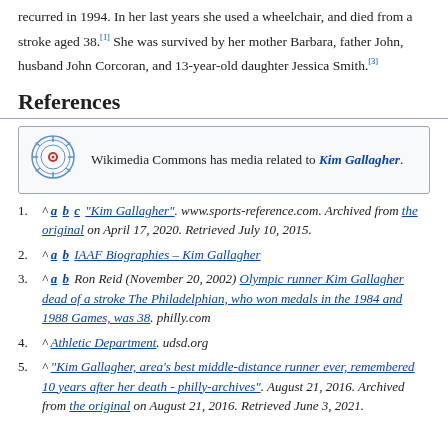recurred in 1994. In her last years she used a wheelchair, and died from a stroke aged 38.[1] She was survived by her mother Barbara, father John, husband John Corcoran, and 13-year-old daughter Jessica Smith.[3]
References
[Figure (other): Wikimedia Commons box with logo: 'Wikimedia Commons has media related to Kim Gallagher.']
1. ^ a b c "Kim Gallagher". www.sports-reference.com. Archived from the original on April 17, 2020. Retrieved July 10, 2015.
2. ^ a b IAAF Biographies – Kim Gallagher
3. ^ a b Ron Reid (November 20, 2002) Olympic runner Kim Gallagher dead of a stroke The Philadelphian, who won medals in the 1984 and 1988 Games, was 38. philly.com
4. ^ Athletic Department. udsd.org
5. ^ "Kim Gallagher, area's best middle-distance runner ever, remembered 10 years after her death - philly-archives". August 21, 2016. Archived from the original on August 21, 2016. Retrieved June 3, 2021.